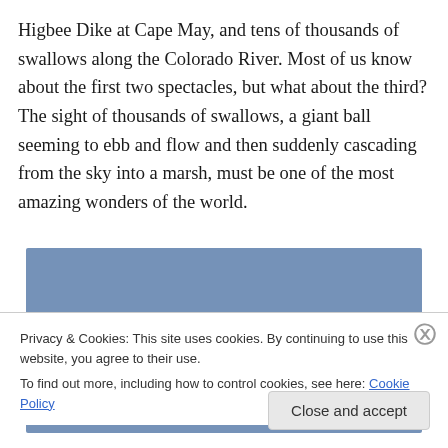Higbee Dike at Cape May, and tens of thousands of swallows along the Colorado River. Most of us know about the first two spectacles, but what about the third? The sight of thousands of swallows, a giant ball seeming to ebb and flow and then suddenly cascading from the sky into a marsh, must be one of the most amazing wonders of the world.
[Figure (photo): A blue/steel-blue rectangular image placeholder representing a photo.]
Privacy & Cookies: This site uses cookies. By continuing to use this website, you agree to their use.
To find out more, including how to control cookies, see here: Cookie Policy
Close and accept